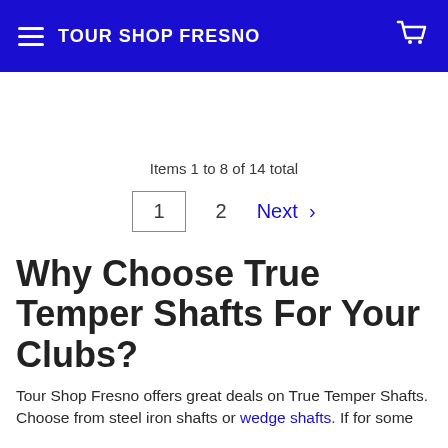TOUR SHOP FRESNO
Items 1 to 8 of 14 total
1  2  Next >
Why Choose True Temper Shafts For Your Clubs?
Tour Shop Fresno offers great deals on True Temper Shafts. Choose from steel iron shafts or wedge shafts. If for some